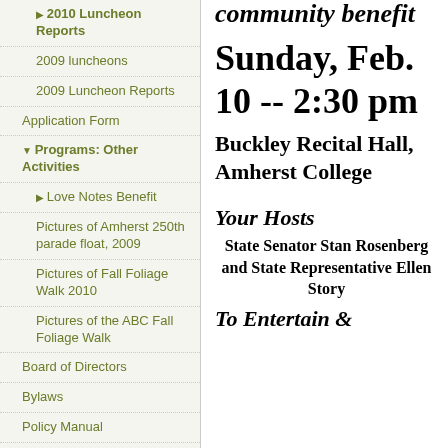2010 Luncheon Reports
2009 luncheons
2009 Luncheon Reports
Application Form
Programs: Other Activities
Love Notes Benefit
Pictures of Amherst 250th parade float, 2009
Pictures of Fall Foliage Walk 2010
Pictures of the ABC Fall Foliage Walk
Board of Directors
Bylaws
Policy Manual
Sitemap
community benefit
Sunday, Feb.
10 -- 2:30 pm
Buckley Recital Hall, Amherst College
Your Hosts
State Senator Stan Rosenberg and State Representative Ellen Story
To Entertain &